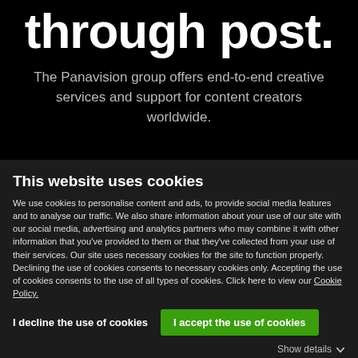through post.
The Panavision group offers end-to-end creative services and support for content creators worldwide.
This website uses cookies
We use cookies to personalise content and ads, to provide social media features and to analyse our traffic. We also share information about your use of our site with our social media, advertising and analytics partners who may combine it with other information that you've provided to them or that they've collected from your use of their services. Our site uses necessary cookies for the site to function properly. Declining the use of cookies consents to necessary cookies only. Accepting the use of cookies consents to the use of all types of cookies. Click here to view our Cookie Policy.
I decline the use of cookies
I accept the use of cookies
Show details